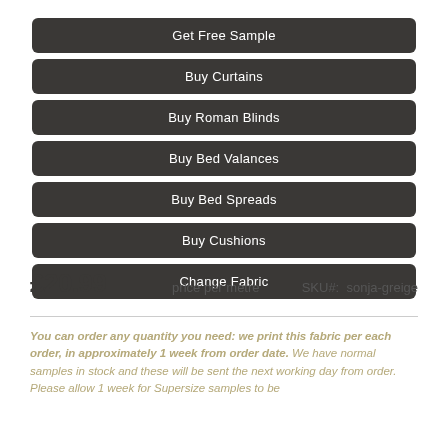Get Free Sample
Buy Curtains
Buy Roman Blinds
Buy Bed Valances
Buy Bed Spreads
Buy Cushions
Change Fabric
£20.99   price per metre   SKU#:  sonja-greige
You can order any quantity you need: we print this fabric per each order, in approximately 1 week from order date. We have normal samples in stock and these will be sent the next working day from order. Please allow 1 week for Supersize samples to be